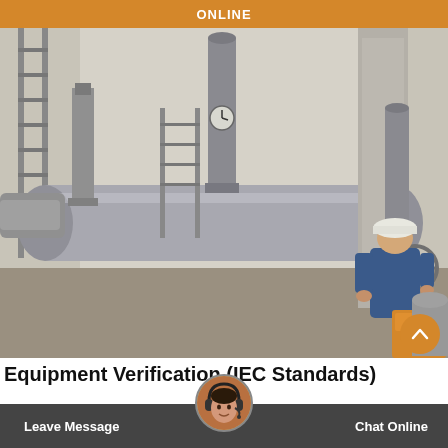ONLINE
[Figure (photo): Industrial electrical substation interior showing large GIS (Gas Insulated Switchgear) equipment, pipe buswork, switchgear structures, ladders, and a worker in blue coveralls and white hard hat servicing equipment on the right side.]
Equipment Verification (IEC Standards)
The IEC publishes general quality good a... performance requirements and listing the co...